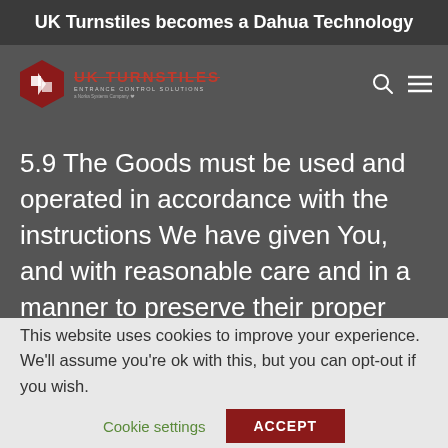UK Turnstiles becomes a Dahua Technology
[Figure (logo): UK Turnstiles logo with hexagonal icon, red text reading UK TURNSTILES, subtitle ENTRANCE CONTROL SOLUTIONS]
5.9 The Goods must be used and operated in accordance with the instructions We have given You, and with reasonable care and in a manner to preserve their proper and efficient working.
This website uses cookies to improve your experience. We'll assume you're ok with this, but you can opt-out if you wish.
Cookie settings  ACCEPT